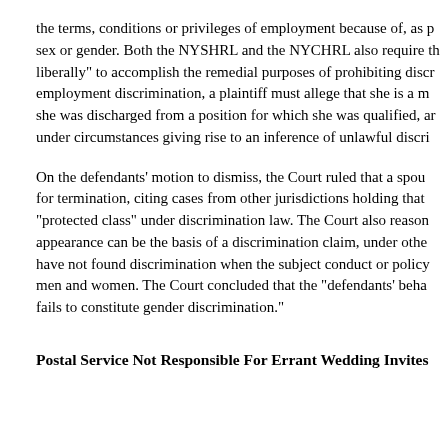the terms, conditions or privileges of employment because of, as p sex or gender. Both the NYSHRL and the NYCHRL also require th liberally" to accomplish the remedial purposes of prohibiting discr employment discrimination, a plaintiff must allege that she is a m she was discharged from a position for which she was qualified, ar under circumstances giving rise to an inference of unlawful discri
On the defendants' motion to dismiss, the Court ruled that a spou for termination, citing cases from other jurisdictions holding that "protected class" under discrimination law. The Court also reason appearance can be the basis of a discrimination claim, under othe have not found discrimination when the subject conduct or policy men and women. The Court concluded that the "defendants' beha fails to constitute gender discrimination."
Postal Service Not Responsible For Errant Wedding Invites